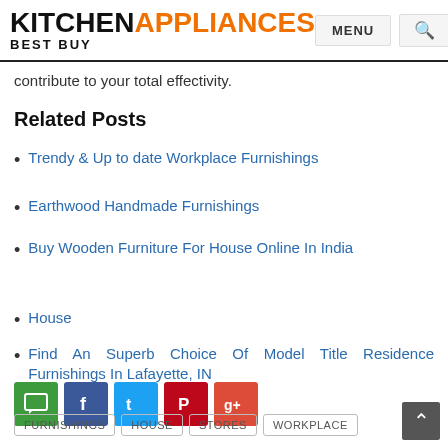KITCHEN APPLIANCES BEST BUY | MENU | Search
contribute to your total effectivity.
Related Posts
Trendy & Up to date Workplace Furnishings
Earthwood Handmade Furnishings
Buy Wooden Furniture For House Online In India
House
Find An Superb Choice Of Model Title Residence Furnishings In Lafayette, IN
[Figure (other): Social sharing icons: comment (green), Facebook (blue), Twitter (light blue), Pinterest (red), Google+ (orange-red)]
FURNISHINGS  HOUSE  STORES  WORKPLACE